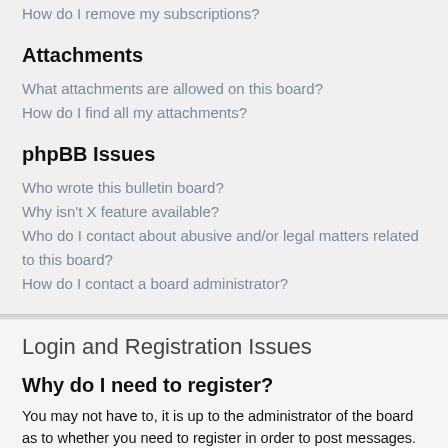How do I remove my subscriptions?
Attachments
What attachments are allowed on this board?
How do I find all my attachments?
phpBB Issues
Who wrote this bulletin board?
Why isn't X feature available?
Who do I contact about abusive and/or legal matters related to this board?
How do I contact a board administrator?
Login and Registration Issues
Why do I need to register?
You may not have to, it is up to the administrator of the board as to whether you need to register in order to post messages. However; registration will give you access to additional features not available to guest users such as definable avatar images, private messaging, emailing of fellow users, usergroup subscription, etc. It only takes a few moments to register so it is recommended you do so.